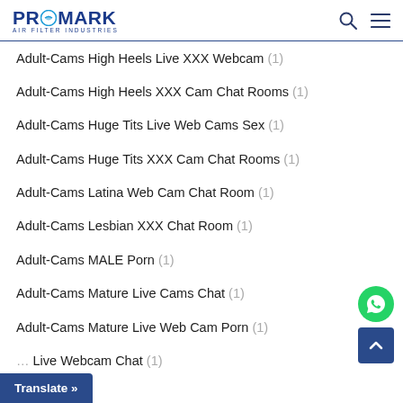PROMARK AIR FILTER INDUSTRIES
Adult-Cams High Heels Live XXX Webcam (1)
Adult-Cams High Heels XXX Cam Chat Rooms (1)
Adult-Cams Huge Tits Live Web Cams Sex (1)
Adult-Cams Huge Tits XXX Cam Chat Rooms (1)
Adult-Cams Latina Web Cam Chat Room (1)
Adult-Cams Lesbian XXX Chat Room (1)
Adult-Cams MALE Porn (1)
Adult-Cams Mature Live Cams Chat (1)
Adult-Cams Mature Live Web Cam Porn (1)
Adult-Cams Mature Live Webcam Chat (1)